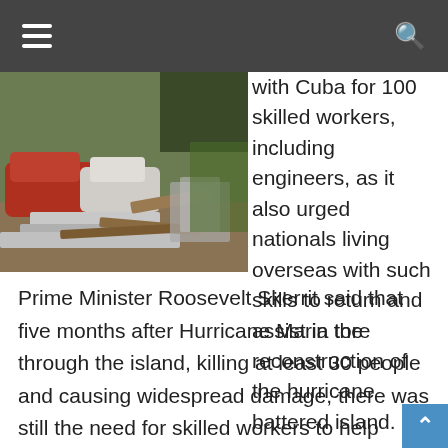≡  [navigation bar]  🔍
[Figure (photo): Debris and wreckage from hurricane damage — damaged vehicles, corrugated metal sheets, wood and other materials piled up]
with Cuba for 100 skilled workers, including engineers, as it also urged nationals living overseas with such skills to return and assist in the reconstruction of the hurricane battered island.
Prime Minister Roosevelt Skerrit said that five months after Hurricane Maria tore through the island, killing at least 30 people and causing widespread damage, there was still the need for skilled workers to help homeowners put a roof over the heads.
“We are finalising an agreement with the government of Cuba where we will be bringing in 100 skilled men and women into